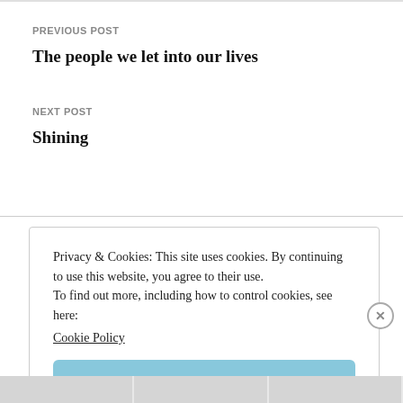PREVIOUS POST
The people we let into our lives
NEXT POST
Shining
Privacy & Cookies: This site uses cookies. By continuing to use this website, you agree to their use.
To find out more, including how to control cookies, see here:
Cookie Policy
Close and accept